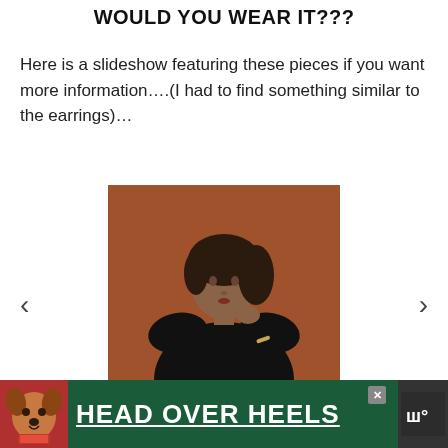WOULD YOU WEAR IT???
Here is a slideshow featuring these pieces if you want more information….(I had to find something similar to the earrings)…
[Figure (photo): A woman wearing a black ruffled-shoulder sweater posing against a brown/terracotta background, with slideshow navigation arrows on either side]
[Figure (other): Advertisement banner for 'HEAD OVER HEELS' showing a dog on green background]